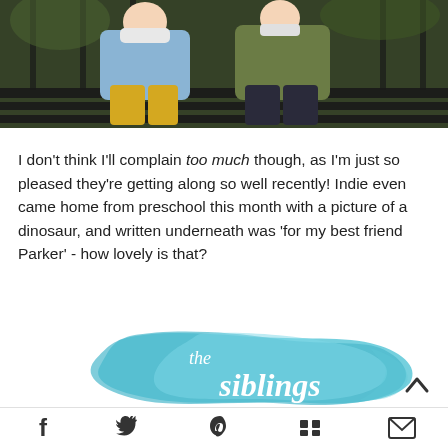[Figure (photo): Two children sitting on a dark wooden bench outdoors. The child on the left wears a light blue denim top with yellow/mustard leggings. The child on the right wears an olive/green jacket with dark patterned pants. Trees and foliage visible in background.]
I don't think I'll complain too much though, as I'm just so pleased they're getting along so well recently! Indie even came home from preschool this month with a picture of a dinosaur, and written underneath was 'for my best friend Parker' - how lovely is that?
[Figure (illustration): Watercolor splash graphic in teal/cyan blue with cursive white text reading 'the siblings']
Social share icons: Facebook, Twitter, Pinterest, Mix, Email